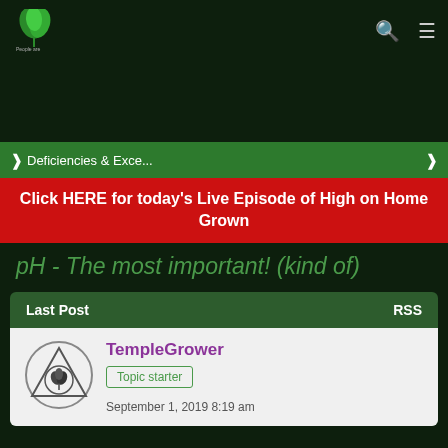People are Awesome Cannabis Forum - logo and navigation
Deficiencies & Exce...
Click HERE for today's Live Episode of High on Home Grown
pH - The most important! (kind of)
| Last Post | RSS |
| --- | --- |
TempleGrower
Topic starter
September 1, 2019 8:19 am